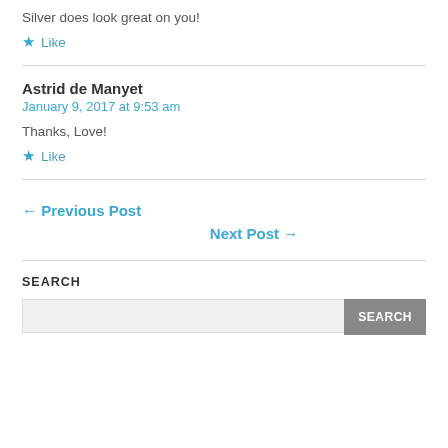Silver does look great on you!
★ Like
Astrid de Manyet
January 9, 2017 at 9:53 am
Thanks, Love!
★ Like
← Previous Post
Next Post →
SEARCH